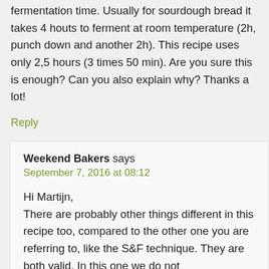fermentation time. Usually for sourdough bread it takes 4 houts to ferment at room temperature (2h, punch down and another 2h). This recipe uses only 2,5 hours (3 times 50 min). Are you sure this is enough? Can you also explain why? Thanks a lot!
Reply
Weekend Bakers says
September 7, 2016 at 08:12
Hi Martijn, There are probably other things different in this recipe too, compared to the other one you are referring to, like the S&F technique. They are both valid. In this one we do not